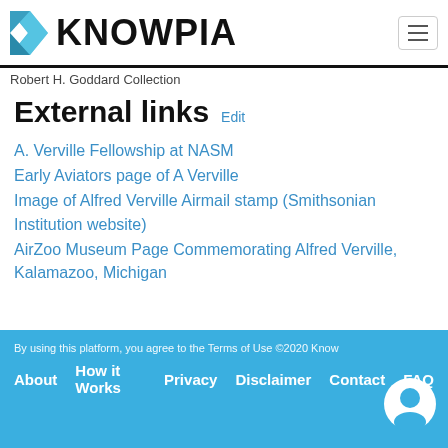KNOWPIA
Robert H. Goddard Collection
External links Edit
A. Verville Fellowship at NASM
Early Aviators page of A Verville
Image of Alfred Verville Airmail stamp (Smithsonian Institution website)
AirZoo Museum Page Commemorating Alfred Verville, Kalamazoo, Michigan
By using this platform, you agree to the Terms of Use ©2020 Knowpia  About  How it Works  Privacy  Disclaimer  Contact  FAQ